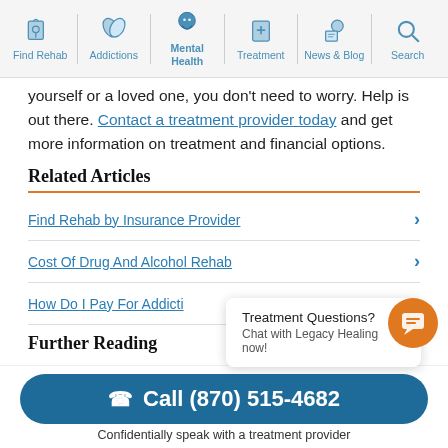Find Rehab | Addictions | Mental Health | Treatment | News & Blog | Search
yourself or a loved one, you don't need to worry. Help is out there. Contact a treatment provider today and get more information on treatment and financial options.
Related Articles
Find Rehab by Insurance Provider
Cost Of Drug And Alcohol Rehab
How Do I Pay For Addicti...
Further Reading
Treatment Questions? Chat with Legacy Healing now!
Call (870) 515-4682
Confidentially speak with a treatment provider